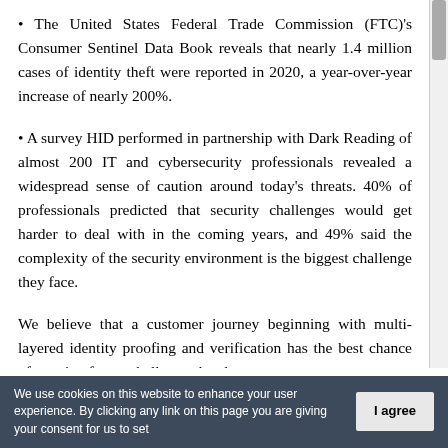The United States Federal Trade Commission (FTC)'s Consumer Sentinel Data Book reveals that nearly 1.4 million cases of identity theft were reported in 2020, a year-over-year increase of nearly 200%.
A survey HID performed in partnership with Dark Reading of almost 200 IT and cybersecurity professionals revealed a widespread sense of caution around today's threats. 40% of professionals predicted that security challenges would get harder to deal with in the coming years, and 49% said the complexity of the security environment is the biggest challenge they face.
We believe that a customer journey beginning with multi-layered identity proofing and verification has the best chance of meeting future challenges head-on.
We use cookies on this website to enhance your user experience. By clicking any link on this page you are giving your consent for us to set